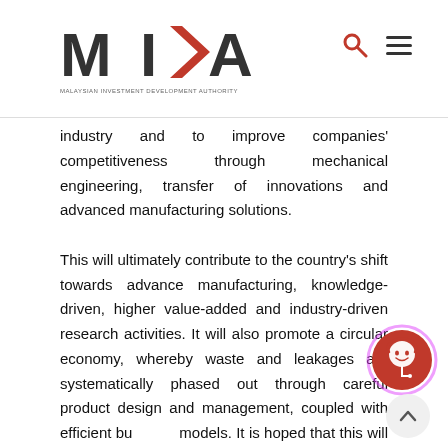MIDA - Malaysian Investment Development Authority
industry and to improve companies' competitiveness through mechanical engineering, transfer of innovations and advanced manufacturing solutions. This will ultimately contribute to the country's shift towards advance manufacturing, knowledge-driven, higher value-added and industry-driven research activities. It will also promote a circular economy, whereby waste and leakages are systematically phased out through careful product design and management, coupled with efficient business models. It is hoped that this will lead to a sustainable and productive business model in line with the greater agenda of the United Nations Sustainable Development Goals.